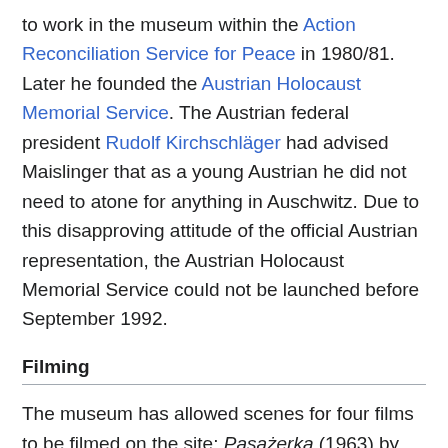to work in the museum within the Action Reconciliation Service for Peace in 1980/81. Later he founded the Austrian Holocaust Memorial Service. The Austrian federal president Rudolf Kirchschläger had advised Maislinger that as a young Austrian he did not need to atone for anything in Auschwitz. Due to this disapproving attitude of the official Austrian representation, the Austrian Holocaust Memorial Service could not be launched before September 1992.
Filming
The museum has allowed scenes for four films to be filmed on the site: Pasażerka (1963) by Polish director Andrzej Munk, Landscape After the Battle (1970) by Polish director Andrzej Wajda, and a television miniseries, War and Remembrance (1988), and Denial (2016). Although the Polish government permitted the construction of film sets on its grounds to shoot scenes for Schindler's List (1993), Steven Spielberg chose to build a "replica" camp entrance outside the infamous